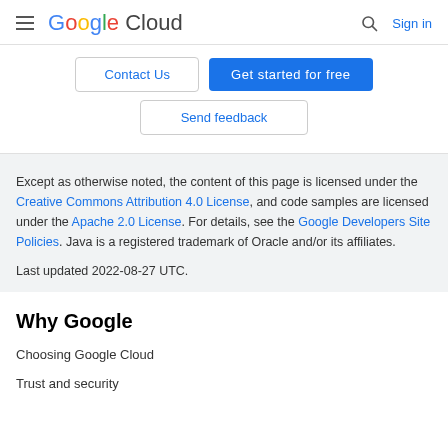Google Cloud — Sign in
Contact Us | Get started for free
Send feedback
Except as otherwise noted, the content of this page is licensed under the Creative Commons Attribution 4.0 License, and code samples are licensed under the Apache 2.0 License. For details, see the Google Developers Site Policies. Java is a registered trademark of Oracle and/or its affiliates.

Last updated 2022-08-27 UTC.
Why Google
Choosing Google Cloud
Trust and security